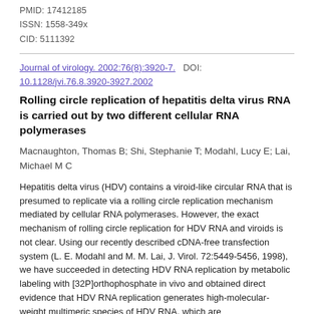PMID: 17412185
ISSN: 1558-349x
CID: 5111392
Journal of virology. 2002:76(8):3920-7.   DOI: 10.1128/jvi.76.8.3920-3927.2002
Rolling circle replication of hepatitis delta virus RNA is carried out by two different cellular RNA polymerases
Macnaughton, Thomas B; Shi, Stephanie T; Modahl, Lucy E; Lai, Michael M C
Hepatitis delta virus (HDV) contains a viroid-like circular RNA that is presumed to replicate via a rolling circle replication mechanism mediated by cellular RNA polymerases. However, the exact mechanism of rolling circle replication for HDV RNA and viroids is not clear. Using our recently described cDNA-free transfection system (L. E. Modahl and M. M. Lai, J. Virol. 72:5449-5456, 1998), we have succeeded in detecting HDV RNA replication by metabolic labeling with [32P]orthophosphate in vivo and obtained direct evidence that HDV RNA replication generates high-molecular-weight multimeric species of HDV RNA, which are